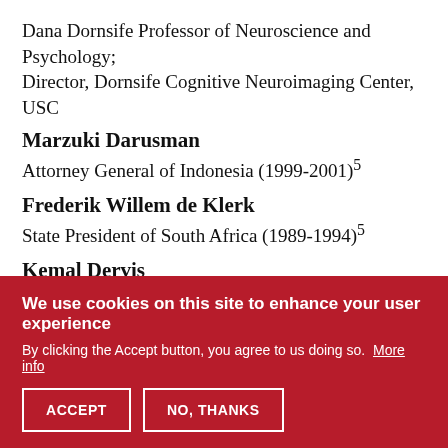Dana Dornsife Professor of Neuroscience and Psychology; Director, Dornsife Cognitive Neuroimaging Center, USC
Marzuki Darusman
Attorney General of Indonesia (1999-2001)⁵
Frederik Willem de Klerk
State President of South Africa (1989-1994)⁵
Kemal Derviş
Minister of Economic Affairs of Turkey (2001-2002); Administrator of UNDP (2005-2009); Senior Fellow Global Economy and Development, Brookings Institute
Beatrice Weder di Mauro
President, Centre for Economic Policy Research (CEPR); Professor of International Economics, Graduate Institute in Geneva
We use cookies on this site to enhance your user experience
By clicking the Accept button, you agree to us doing so. More info
ACCEPT   NO, THANKS